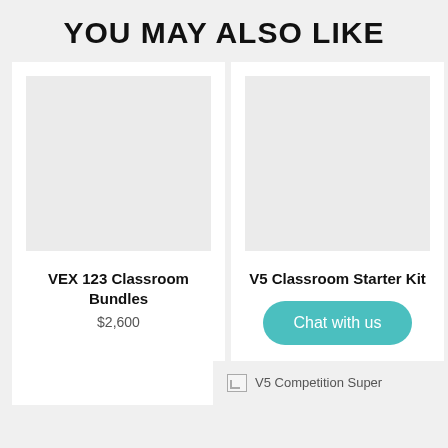YOU MAY ALSO LIKE
[Figure (photo): Product image placeholder (light gray rectangle) for VEX 123 Classroom Bundles]
VEX 123 Classroom Bundles
$2,600
[Figure (photo): Product image placeholder (light gray rectangle) for V5 Classroom Starter Kit]
V5 Classroom Starter Kit
Chat with us
V5 Competition Super